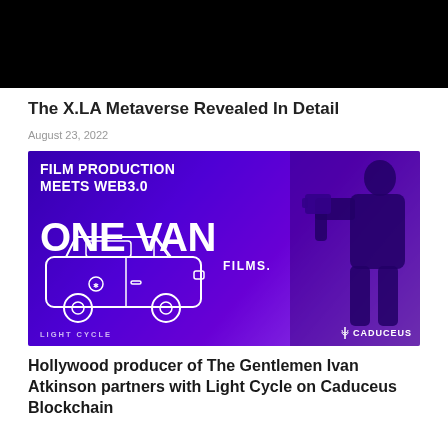[Figure (photo): Black rectangular banner image at the top of the page]
The X.LA Metaverse Revealed In Detail
August 23, 2022
[Figure (photo): Purple-toned promotional image for One Van Films showing the text 'FILM PRODUCTION MEETS WEB3.0' and 'ONE VAN FILMS.' with a van illustration and a silhouette of a man with a camera. Bottom left shows 'LIGHT CYCLE' and bottom right shows 'CADUCEUS' logo.]
Hollywood producer of The Gentlemen Ivan Atkinson partners with Light Cycle on Caduceus Blockchain